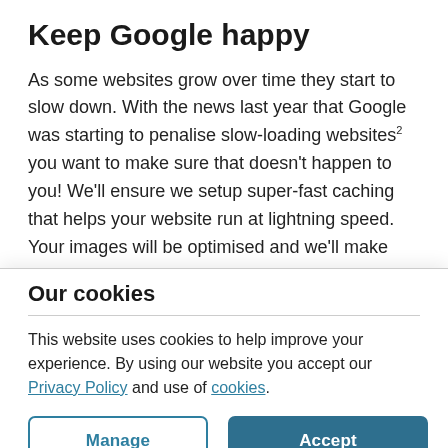Keep Google happy
As some websites grow over time they start to slow down. With the news last year that Google was starting to penalise slow-loading websites² you want to make sure that doesn’t happen to you! We’ll ensure we setup super-fast caching that helps your website run at lightning speed. Your images will be optimised and we’ll make sure your PHP settings are configured for…
Our cookies
This website uses cookies to help improve your experience. By using our website you accept our Privacy Policy and use of cookies.
Manage  Accept